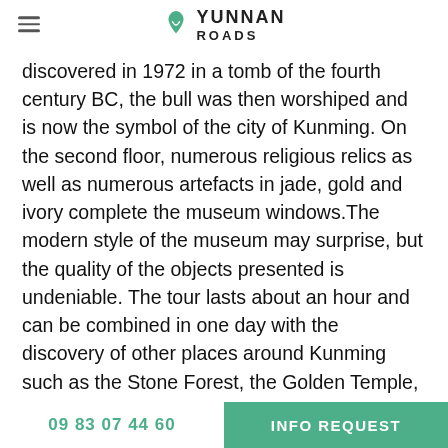YUNNAN ROADS
discovered in 1972 in a tomb of the fourth century BC, the bull was then worshiped and is now the symbol of the city of Kunming. On the second floor, numerous religious relics as well as numerous artefacts in jade, gold and ivory complete the museum windows.The modern style of the museum may surprise, but the quality of the objects presented is undeniable. The tour lasts about an hour and can be combined in one day with the discovery of other places around Kunming such as the Stone Forest, the Golden Temple, the Bamboo Temple or the Western Mountains.
Museum entrance fee
Price of 10 yuan / RMB per person. Attention: museum
09 83 07 44 60   INFO REQUEST